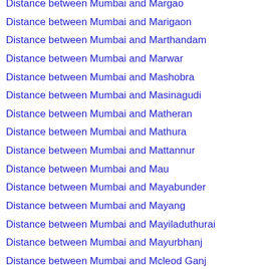Distance between Mumbai and Margao
Distance between Mumbai and Marigaon
Distance between Mumbai and Marthandam
Distance between Mumbai and Marwar
Distance between Mumbai and Mashobra
Distance between Mumbai and Masinagudi
Distance between Mumbai and Matheran
Distance between Mumbai and Mathura
Distance between Mumbai and Mattannur
Distance between Mumbai and Mau
Distance between Mumbai and Mayabunder
Distance between Mumbai and Mayang
Distance between Mumbai and Mayiladuthurai
Distance between Mumbai and Mayurbhanj
Distance between Mumbai and Mcleod Ganj
Distance between Mumbai and Medak
Distance between Mumbai and Medinipur
Distance between Mumbai and Meerut
Distance between Mumbai and Mehsana
Distance between Mumbai and Merta